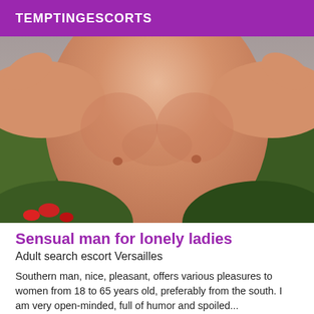TEMPTINGESCORTS
[Figure (photo): Shirtless man photographed outdoors with greenery and red flowers in the background, torso view]
Sensual man for lonely ladies
Adult search escort Versailles
Southern man, nice, pleasant, offers various pleasures to women from 18 to 65 years old, preferably from the south. I am very open-minded, full of humor and spoiled...